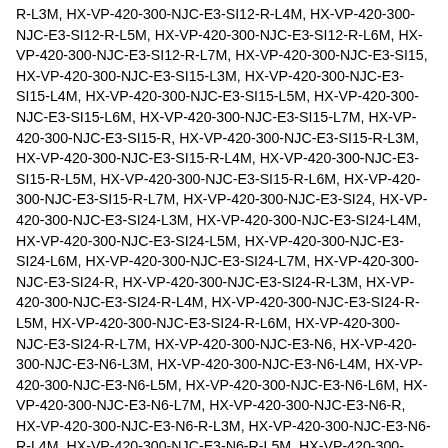R-L3M, HX-VP-420-300-NJC-E3-SI12-R-L4M, HX-VP-420-300-NJC-E3-SI12-R-L5M, HX-VP-420-300-NJC-E3-SI12-R-L6M, HX-VP-420-300-NJC-E3-SI12-R-L7M, HX-VP-420-300-NJC-E3-SI15, HX-VP-420-300-NJC-E3-SI15-L3M, HX-VP-420-300-NJC-E3-SI15-L4M, HX-VP-420-300-NJC-E3-SI15-L5M, HX-VP-420-300-NJC-E3-SI15-L6M, HX-VP-420-300-NJC-E3-SI15-L7M, HX-VP-420-300-NJC-E3-SI15-R, HX-VP-420-300-NJC-E3-SI15-R-L3M, HX-VP-420-300-NJC-E3-SI15-R-L4M, HX-VP-420-300-NJC-E3-SI15-R-L5M, HX-VP-420-300-NJC-E3-SI15-R-L6M, HX-VP-420-300-NJC-E3-SI15-R-L7M, HX-VP-420-300-NJC-E3-SI24, HX-VP-420-300-NJC-E3-SI24-L3M, HX-VP-420-300-NJC-E3-SI24-L4M, HX-VP-420-300-NJC-E3-SI24-L5M, HX-VP-420-300-NJC-E3-SI24-L6M, HX-VP-420-300-NJC-E3-SI24-L7M, HX-VP-420-300-NJC-E3-SI24-R, HX-VP-420-300-NJC-E3-SI24-R-L3M, HX-VP-420-300-NJC-E3-SI24-R-L4M, HX-VP-420-300-NJC-E3-SI24-R-L5M, HX-VP-420-300-NJC-E3-SI24-R-L6M, HX-VP-420-300-NJC-E3-SI24-R-L7M, HX-VP-420-300-NJC-E3-N6, HX-VP-420-300-NJC-E3-N6-L3M, HX-VP-420-300-NJC-E3-N6-L4M, HX-VP-420-300-NJC-E3-N6-L5M, HX-VP-420-300-NJC-E3-N6-L6M, HX-VP-420-300-NJC-E3-N6-L7M, HX-VP-420-300-NJC-E3-N6-R, HX-VP-420-300-NJC-E3-N6-R-L3M, HX-VP-420-300-NJC-E3-N6-R-L4M, HX-VP-420-300-NJC-E3-N6-R-L5M, HX-VP-420-300-NJC-E3-N6-R-L6M, HX-VP-420-300-NJC-E3-N6-R-L7M, HX-VP-